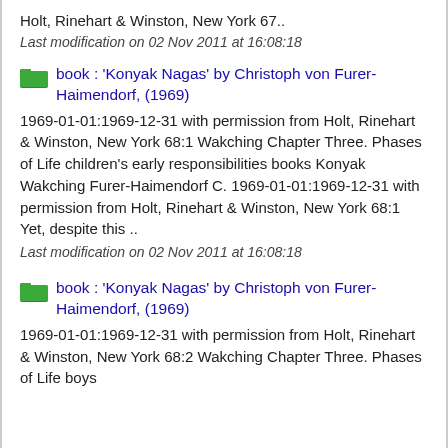Holt, Rinehart & Winston, New York 67..
Last modification on 02 Nov 2011 at 16:08:18
book : 'Konyak Nagas' by Christoph von Furer-Haimendorf, (1969)
1969-01-01:1969-12-31 with permission from Holt, Rinehart & Winston, New York 68:1 Wakching Chapter Three. Phases of Life children's early responsibilities books Konyak Wakching Furer-Haimendorf C. 1969-01-01:1969-12-31 with permission from Holt, Rinehart & Winston, New York 68:1 Yet, despite this ..
Last modification on 02 Nov 2011 at 16:08:18
book : 'Konyak Nagas' by Christoph von Furer-Haimendorf, (1969)
1969-01-01:1969-12-31 with permission from Holt, Rinehart & Winston, New York 68:2 Wakching Chapter Three. Phases of Life boys